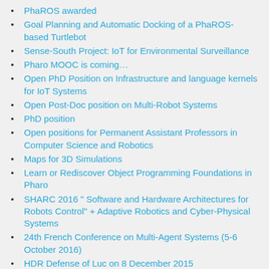PhaROS awarded
Goal Planning and Automatic Docking of a PhaROS-based Turtlebot
Sense-South Project: IoT for Environmental Surveillance
Pharo MOOC is coming…
Open PhD Position on Infrastructure and language kernels for IoT Systems
Open Post-Doc position on Multi-Robot Systems
PhD position
Open positions for Permanent Assistant Professors in Computer Science and Robotics
Maps for 3D Simulations
Learn or Rediscover Object Programming Foundations in Pharo
SHARC 2016 " Software and Hardware Architectures for Robots Control" + Adaptive Robotics and Cyber-Physical Systems
24th French Conference on Multi-Agent Systems (5-6 October 2016)
HDR Defense of Luc on 8 December 2015
French Workshop on Software Architectures for Autonomous Robotics, Cyber-Physical Systems and